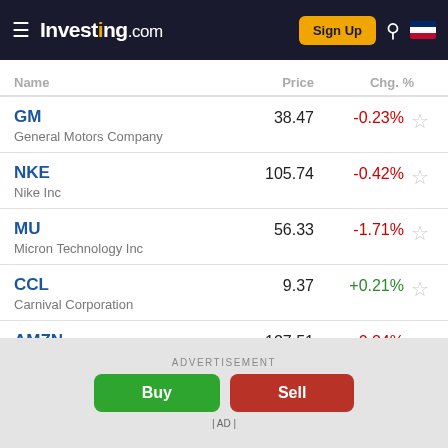Investing.com
| Name | Price | Chg. % |
| --- | --- | --- |
| GM
General Motors Company | 38.47 | -0.23% |
| NKE
Nike Inc | 105.74 | -0.42% |
| MU
Micron Technology Inc | 56.33 | -1.71% |
| CCL
Carnival Corporation | 9.37 | +0.21% |
| AMZN
Amazon.com Inc | 127.51 | -0.24% |
ADVERTISEMENT
Buy   Sell
| AD |